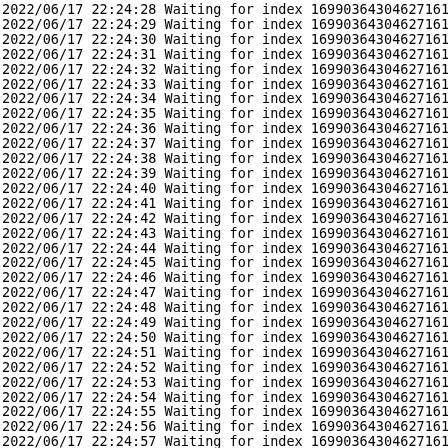2022/06/17 22:24:28 Waiting for index 169903643046271614...
2022/06/17 22:24:29 Waiting for index 169903643046271614...
2022/06/17 22:24:30 Waiting for index 169903643046271614...
2022/06/17 22:24:31 Waiting for index 169903643046271614...
2022/06/17 22:24:32 Waiting for index 169903643046271614...
2022/06/17 22:24:33 Waiting for index 169903643046271614...
2022/06/17 22:24:34 Waiting for index 169903643046271614...
2022/06/17 22:24:35 Waiting for index 169903643046271614...
2022/06/17 22:24:36 Waiting for index 169903643046271614...
2022/06/17 22:24:37 Waiting for index 169903643046271614...
2022/06/17 22:24:38 Waiting for index 169903643046271614...
2022/06/17 22:24:39 Waiting for index 169903643046271614...
2022/06/17 22:24:40 Waiting for index 169903643046271614...
2022/06/17 22:24:41 Waiting for index 169903643046271614...
2022/06/17 22:24:42 Waiting for index 169903643046271614...
2022/06/17 22:24:43 Waiting for index 169903643046271614...
2022/06/17 22:24:44 Waiting for index 169903643046271614...
2022/06/17 22:24:45 Waiting for index 169903643046271614...
2022/06/17 22:24:46 Waiting for index 169903643046271614...
2022/06/17 22:24:47 Waiting for index 169903643046271614...
2022/06/17 22:24:48 Waiting for index 169903643046271614...
2022/06/17 22:24:49 Waiting for index 169903643046271614...
2022/06/17 22:24:50 Waiting for index 169903643046271614...
2022/06/17 22:24:51 Waiting for index 169903643046271614...
2022/06/17 22:24:52 Waiting for index 169903643046271614...
2022/06/17 22:24:53 Waiting for index 169903643046271614...
2022/06/17 22:24:54 Waiting for index 169903643046271614...
2022/06/17 22:24:55 Waiting for index 169903643046271614...
2022/06/17 22:24:56 Waiting for index 169903643046271614...
2022/06/17 22:24:57 Waiting for index 169903643046271614...